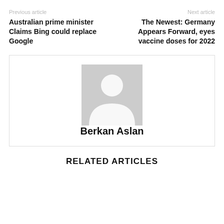Previous article
Next article
Australian prime minister Claims Bing could replace Google
The Newest: Germany Appears Forward, eyes vaccine doses for 2022
[Figure (photo): Gray placeholder avatar image showing a silhouette of a person]
Berkan Aslan
RELATED ARTICLES